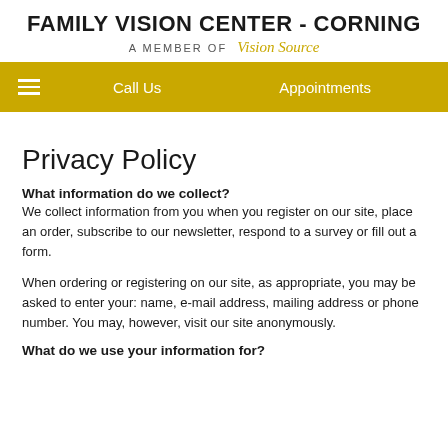FAMILY VISION CENTER - CORNING
A MEMBER OF Vision Source
Call Us  Appointments
Privacy Policy
What information do we collect?
We collect information from you when you register on our site, place an order, subscribe to our newsletter, respond to a survey or fill out a form.
When ordering or registering on our site, as appropriate, you may be asked to enter your: name, e-mail address, mailing address or phone number. You may, however, visit our site anonymously.
What do we use your information for?